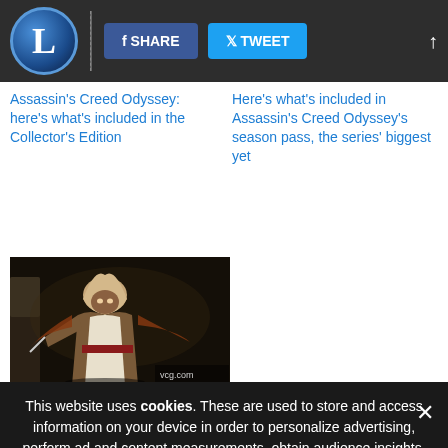L | SHARE | TWEET
Assassin's Creed Odyssey: here's what's included in the Collector's Edition
Here's what's included in Assassin's Creed Odyssey's season pass, the series' biggest yet
[Figure (photo): Assassin's Creed Origins character artwork showing a hooded assassin figure]
Assassin's Creed Origins: The Hidden Ones DLC
Monster Hunter World d… …on delay as final PlayStation 4 beta draw…
This website uses cookies. These are used to store and access information on your device in order to personalize advertising, perform ad and content measurements, obtain audience insights, offer social features and remember your preferences. For more information, including managing of your consent, see our Privacy and Cookie Policy.
ACCEPT